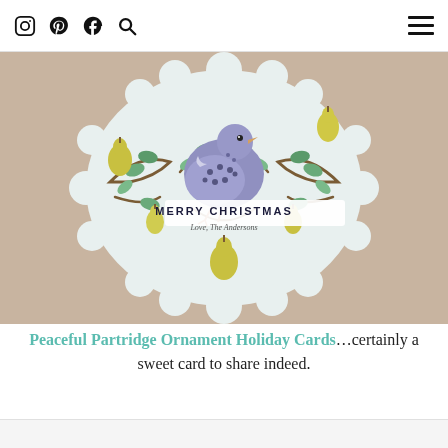Social media icons (Instagram, Pinterest, Facebook, Search) and hamburger menu
[Figure (illustration): A decorative partridge ornament holiday card on a tan/beige background. The card has a scalloped medallion shape with illustrated partridge bird, pear tree branches with yellow-green pears and green leaves. A banner across the center reads 'MERRY CHRISTMAS' with 'Love, The Andersons' in script below.]
Peaceful Partridge Ornament Holiday Cards…certainly a sweet card to share indeed.